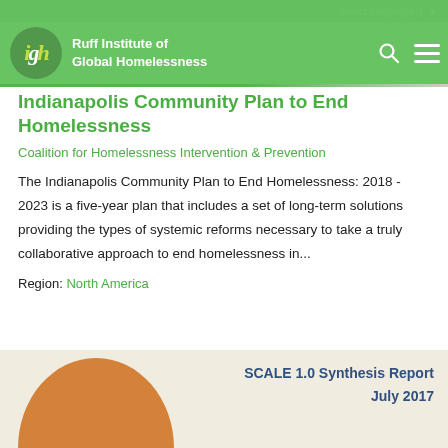Ruff Institute of Global Homelessness | Select Language
Indianapolis Community Plan to End Homelessness
Coalition for Homelessness Intervention & Prevention
The Indianapolis Community Plan to End Homelessness: 2018 - 2023 is a five-year plan that includes a set of long-term solutions providing the types of systemic reforms necessary to take a truly collaborative approach to end homelessness in...
Region: North America
[Figure (illustration): Preview card for SCALE 1.0 Synthesis Report July 2017, showing an orange circle on a beige background with the report title in blue on the right side.]